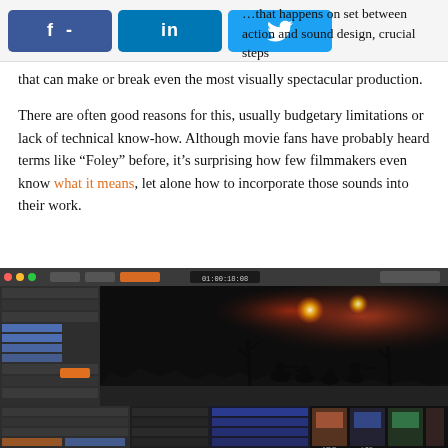f - | in | [twitter] | ...that happens on set between action and sound design, crucial steps that can make or break even the most visually spectacular production.
that can make or break even the most visually spectacular production.
There are often good reasons for this, usually budgetary limitations or lack of technical know-how. Although movie fans have probably heard terms like “Foley” before, it’s surprising how few filmmakers even know what it means, let alone how to incorporate those sounds into their work.
[Figure (screenshot): Screenshot of a digital audio workstation (DAW) software showing a film editing timeline with a dark war scene featuring silhouetted soldiers against a reddish sky with bright lights, surrounded by multiple panels of audio tracks, sound effects library, and mixing controls.]